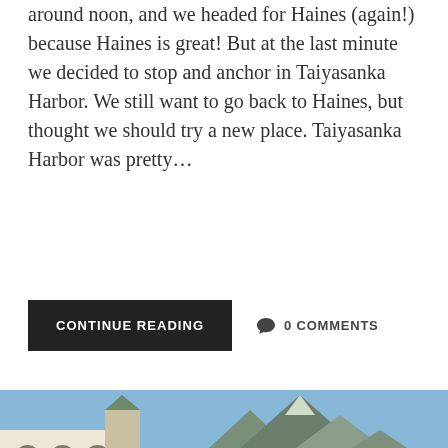around noon, and we headed for Haines (again!) because Haines is great! But at the last minute we decided to stop and anchor in Taiyasanka Harbor. We still want to go back to Haines, but thought we should try a new place. Taiyasanka Harbor was pretty…
CONTINUE READING
0 COMMENTS
[Figure (photo): Street-level photograph of historic downtown buildings including a White Pass & Yukon Route railway station sign, with mountains visible in the background under a blue sky.]